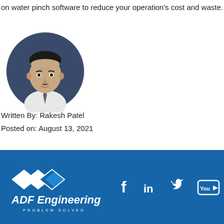on water pinch software to reduce your operation's cost and waste.
[Figure (photo): Circular headshot portrait of Rakesh Patel, a man in a white shirt and tie against a dark background]
Written By: Rakesh Patel
Posted on: August 13, 2021
Article
[Figure (logo): ADF Engineering logo with diamond arrow shapes above text 'ADF Engineering' and tagline 'PROBLEM SOLVED' on a blue footer bar, accompanied by Facebook, LinkedIn, Twitter, and YouTube social media icons]